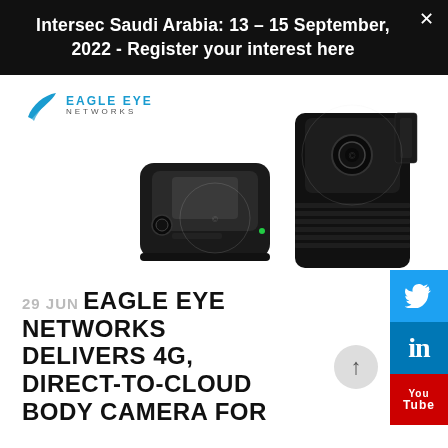Intersec Saudi Arabia: 13 – 15 September, 2022 - Register your interest here
[Figure (logo): Eagle Eye Networks logo with blue wing icon and blue text 'EAGLE EYE NETWORKS']
[Figure (photo): Two black body cameras shown from different angles on white background]
29 JUN EAGLE EYE NETWORKS DELIVERS 4G, DIRECT-TO-CLOUD BODY CAMERA FOR